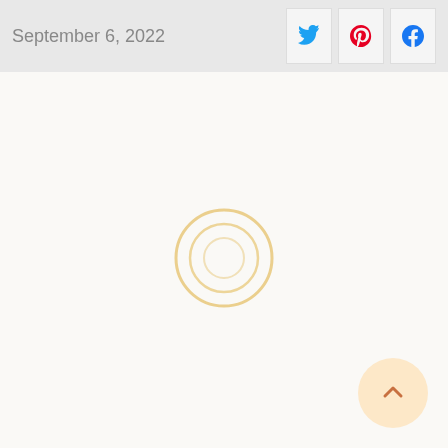September 6, 2022
[Figure (other): Loading spinner: two concentric circles in golden/yellow color on a light cream background, centered on the page]
[Figure (other): Back to top button: circular peach/orange button in lower right corner with an upward caret arrow icon]